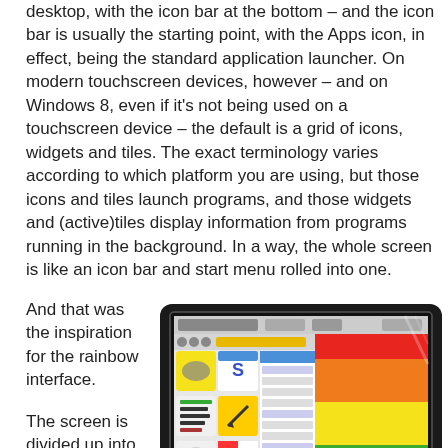desktop, with the icon bar at the bottom – and the icon bar is usually the starting point, with the Apps icon, in effect, being the standard application launcher. On modern touchscreen devices, however – and on Windows 8, even if it's not being used on a touchscreen device – the default is a grid of icons, widgets and tiles. The exact terminology varies according to which platform you are using, but those icons and tiles launch programs, and those widgets and (active)tiles display information from programs running in the background. In a way, the whole screen is like an icon bar and start menu rolled into one.
And that was the inspiration for the rainbow interface.
[Figure (photo): A computer monitor displaying a rainbow-colored interface with horizontal color bands (red, orange, yellow, green, blue, indigo, violet) on the right side and application icons on the left side of the screen.]
The screen is divided up into seven horizontal